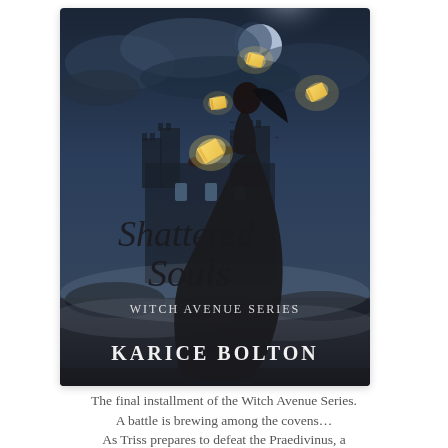[Figure (illustration): Book cover for 'Shattered Souls – Witch Avenue Series' by Karice Bolton. Dark atmospheric fantasy cover showing a woman in a long black dress standing in a stormy, moonlit scene with glowing golden books flying around her. A gothic castle silhouette is visible in the background. The title 'Shattered Souls' is in decorative cursive script, 'Witch Avenue Series' in small caps, and 'Karice Bolton' in serif block letters at the bottom.]
The final installment of the Witch Avenue Series. A battle is brewing among the covens… As Triss prepares to defeat the Praedivinus, a new order rises, and this one is far more deadly. Navigating her way through mystic realms, and unknown portals it is up to Triss to recognize real